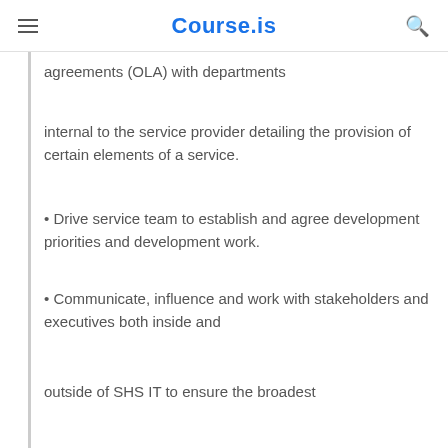Course.is
agreements (OLA) with departments
internal to the service provider detailing the provision of certain elements of a service.
• Drive service team to establish and agree development priorities and development work.
• Communicate, influence and work with stakeholders and executives both inside and
outside of SHS IT to ensure the broadest
• Act as go-to point for Active Directory services and